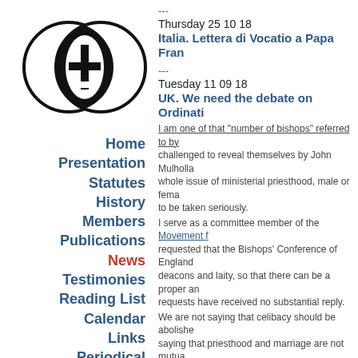[Figure (logo): Two overlapping circles with a cross in the center, black and white logo]
Home
Presentation
Statutes
History
Members
Publications
News
Testimonies
Reading List
Calendar
Links
Periodical
---
Thursday 25 10 18
Italia. Lettera di Vocatio a Papa Fran
---
Tuesday 11 09 18
UK. We need the debate on Ordinati
I am one of that "number of bishops" referred to by challenged to reveal themselves by John Mulholla... whole issue of ministerial priesthood, male or fema... to be taken seriously.
I serve as a committee member of the Movement f... requested that the Bishops' Conference of England... deacons and laity, so that there can be a proper an... requests have received no substantial reply.
We are not saying that celibacy should be abolishe... saying that priesthood and marriage are not mutua... the possible ordination of women. All these questio... considered discernment needs to be made.
I, and MMaC with me, am continuing to ask that th... parishes today, should become official, so that a pr... diminishing number of priests is real. I have said it... (s. Crispian Hollis, Retired Bishop of Portsmouth, M
---
Tuesday 11 09 18
Italia. Relazioni dell'Incontro di Voc...